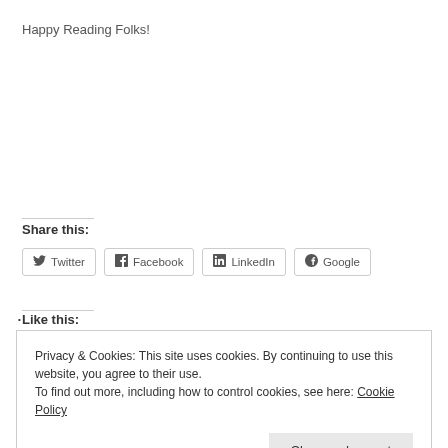Happy Reading Folks!
Share this:
[Figure (other): Social share buttons for Twitter, Facebook, LinkedIn, Google]
Like this:
Privacy & Cookies: This site uses cookies. By continuing to use this website, you agree to their use.
To find out more, including how to control cookies, see here: Cookie Policy